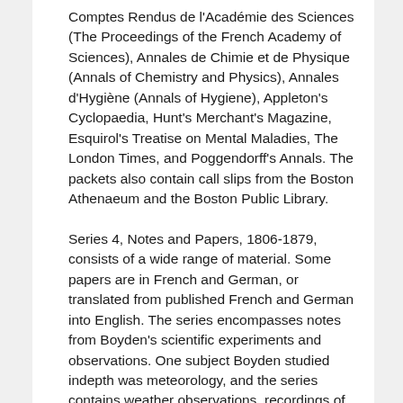Comptes Rendus de l'Académie des Sciences (The Proceedings of the French Academy of Sciences), Annales de Chimie et de Physique (Annals of Chemistry and Physics), Annales d'Hygiène (Annals of Hygiene), Appleton's Cyclopaedia, Hunt's Merchant's Magazine, Esquirol's Treatise on Mental Maladies, The London Times, and Poggendorff's Annals. The packets also contain call slips from the Boston Athenaeum and the Boston Public Library.
Series 4, Notes and Papers, 1806-1879, consists of a wide range of material. Some papers are in French and German, or translated from published French and German into English. The series encompasses notes from Boyden's scientific experiments and observations. One subject Boyden studied indepth was meteorology, and the series contains weather observations, recordings of temperature and air pressure, and eyewitness accounts of unusual weather.
In addition, Boyden conducted experiments on the effect of a dam in the Merrimack River, the